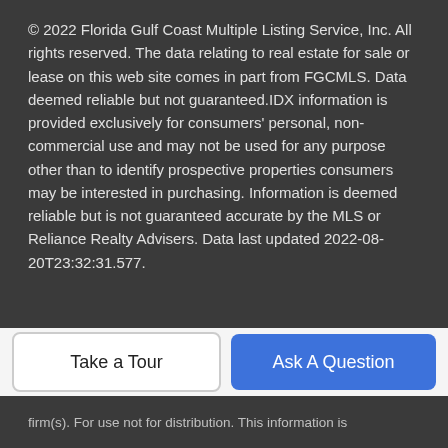© 2022 Florida Gulf Coast Multiple Listing Service, Inc. All rights reserved. The data relating to real estate for sale or lease on this web site comes in part from FGCMLS. Data deemed reliable but not guaranteed.IDX information is provided exclusively for consumers' personal, non-commercial use and may not be used for any purpose other than to identify prospective properties consumers may be interested in purchasing. Information is deemed reliable but is not guaranteed accurate by the MLS or Reliance Realty Advisers. Data last updated 2022-08-20T23:32:31.577.
The data relating to real estate for sale on this limited electronic display come in part from the Broker Reciprocity Program (BR Program) of M.L.S. of Naples, Inc. Properties listed with brokerage firms other than Reliance Realty Advisers are marked with the BR Program Icon or the BR House Icon and detailed information about them includes the name of the listing
Take a Tour
Ask A Question
firm(s). For use not for distribution. This information is